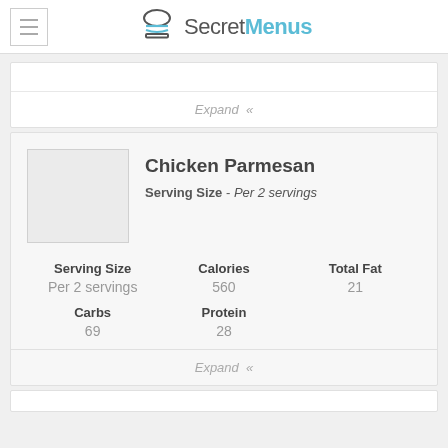SecretMenus
Expand «
Chicken Parmesan
Serving Size - Per 2 servings
| Serving Size | Calories | Total Fat |
| --- | --- | --- |
| Per 2 servings | 560 | 21 |
| Carbs | Protein |  |
| 69 | 28 |  |
Expand «